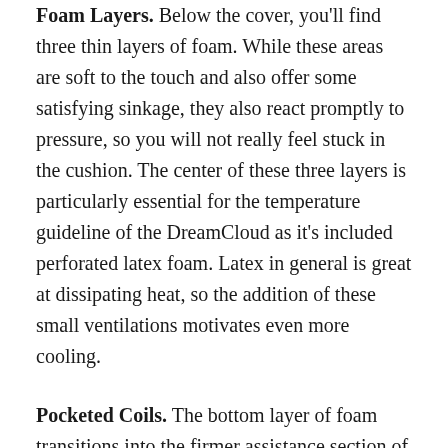Foam Layers. Below the cover, you'll find three thin layers of foam. While these areas are soft to the touch and also offer some satisfying sinkage, they also react promptly to pressure, so you will not really feel stuck in the cushion. The center of these three layers is particularly essential for the temperature guideline of the DreamCloud as it's included perforated latex foam. Latex in general is great at dissipating heat, so the addition of these small ventilations motivates even more cooling.
Pocketed Coils. The bottom layer of foam transitions into the firmer assistance section of the cushion, which is comprised of a pocketed coil system. These individually wrapped springs provide the bed superb bounce and also aid to disperse